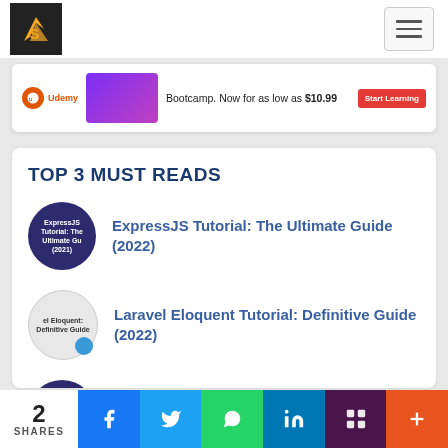[Figure (logo): Website logo - orange arrow/S shape on black background]
[Figure (infographic): Advertisement banner: Bootcamp. Now for as low as $10.99 with Start Learning button]
TOP 3 MUST READS
ExpressJS Tutorial: The Ultimate Guide (2022)
Laravel Eloquent Tutorial: Definitive Guide (2022)
NestJS Typescript: The Ultimate Guide
2 SHARES